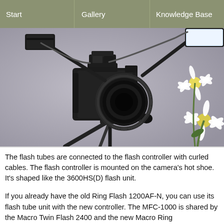Start | Gallery | Knowledge Base
[Figure (photo): A DSLR camera mounted on a tripod with a macro twin flash system attached. Two flash tubes extend outward from a ring adapter on the lens. White daisy flowers are visible in the background on the right side.]
The flash tubes are connected to the flash controller with curled cables. The flash controller is mounted on the camera's hot shoe. It's shaped like the 3600HS(D) flash unit.
If you already have the old Ring Flash 1200AF-N, you can use its flash tube unit with the new controller. The MFC-1000 is shared by the Macro Twin Flash 2400 and the new Macro Ring